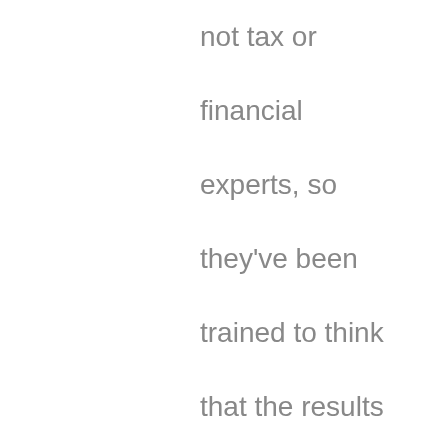not tax or financial experts, so they've been trained to think that the results of their tax filing each year is positive or negative based on whether they received a refund or how much they owed in tax